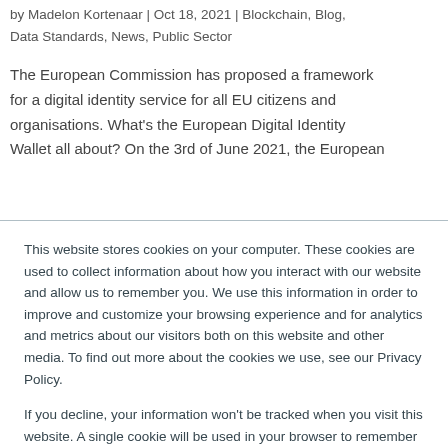by Madelon Kortenaar | Oct 18, 2021 | Blockchain, Blog, Data Standards, News, Public Sector
The European Commission has proposed a framework for a digital identity service for all EU citizens and organisations. What’s the European Digital Identity Wallet all about?  On the 3rd of June 2021, the European
This website stores cookies on your computer. These cookies are used to collect information about how you interact with our website and allow us to remember you. We use this information in order to improve and customize your browsing experience and for analytics and metrics about our visitors both on this website and other media. To find out more about the cookies we use, see our Privacy Policy.
If you decline, your information won’t be tracked when you visit this website. A single cookie will be used in your browser to remember your preference not to be tracked.
Accept
Decline